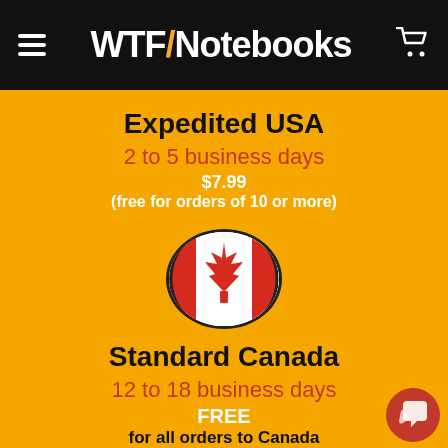WTF/Notebooks
Expedited USA
2 to 5 business days
$7.99
(free for orders of 10 or more)
[Figure (illustration): Canadian flag in a circular badge with black border]
Standard Canada
12 to 18 business days
FREE
for all orders to Canada